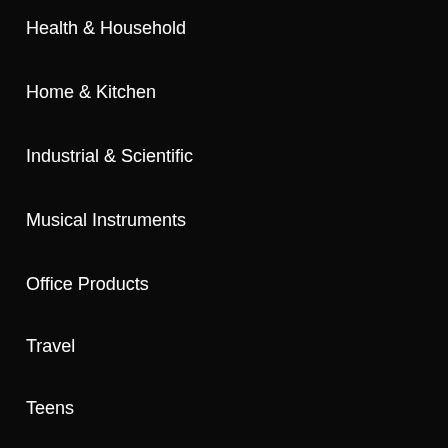Health & Household
Home & Kitchen
Industrial & Scientific
Musical Instruments
Office Products
Travel
Teens
RECENT POSTS
When did Teenager Become a Thing? The Rise of the Youngsters
Young Brazillian Teen Influencer: Some Famous People